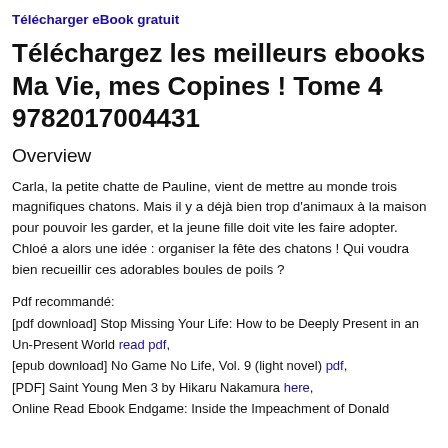Télécharger eBook gratuit
Téléchargez les meilleurs ebooks Ma Vie, mes Copines ! Tome 4 9782017004431
Overview
Carla, la petite chatte de Pauline, vient de mettre au monde trois magnifiques chatons. Mais il y a déjà bien trop d'animaux à la maison pour pouvoir les garder, et la jeune fille doit vite les faire adopter. Chloé a alors une idée : organiser la fête des chatons ! Qui voudra bien recueillir ces adorables boules de poils ?
Pdf recommandé:
[pdf download] Stop Missing Your Life: How to be Deeply Present in an Un-Present World read pdf,
[epub download] No Game No Life, Vol. 9 (light novel) pdf,
[PDF] Saint Young Men 3 by Hikaru Nakamura here,
Online Read Ebook Endgame: Inside the Impeachment of Donald